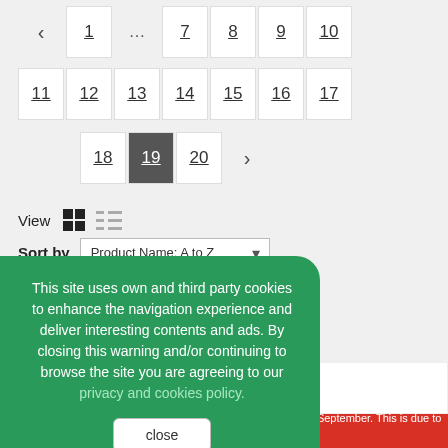‹ 1 … 7 8 9 10
11 12 13 14 15 16 17
18 19 20 ›
View [grid icon] [list icon]
Sort by Product Name: A to Z
This site uses own and third party cookies to enhance the navigation experience and deliver interesting contents and ads. By closing this warning and/or continuing to browse the site you are agreeing to our privacy and cookies policy.
close
ed in September. This is due to the l possible delays caused by general e customs service, carriers, etc.